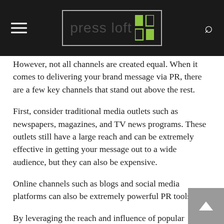press loft
However, not all channels are created equal. When it comes to delivering your brand message via PR, there are a few key channels that stand out above the rest.
First, consider traditional media outlets such as newspapers, magazines, and TV news programs. These outlets still have a large reach and can be extremely effective in getting your message out to a wide audience, but they can also be expensive.
Online channels such as blogs and social media platforms can also be extremely powerful PR tools.
By leveraging the reach and influence of popular bloggers and social media influencers, you can ensure that your brand message gets seen by your target audience.